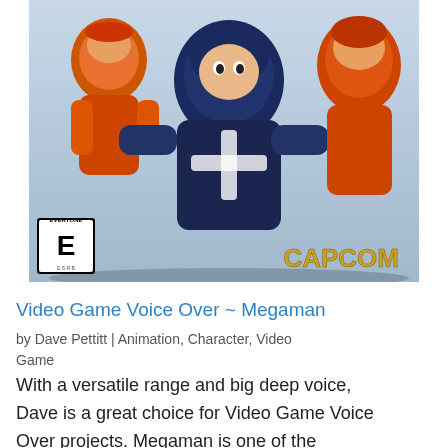[Figure (illustration): Megaman video game cover art showing animated robotic characters in orange, blue, and black armor. ESRB 'E for Everyone' rating logo in lower left corner. CAPCOM logo in gold text in lower right corner.]
Video Game Voice Over ~ Megaman
by Dave Pettitt | Animation, Character, Video Game
With a versatile range and big deep voice, Dave is a great choice for Video Game Voice Over projects. Megaman is one of the